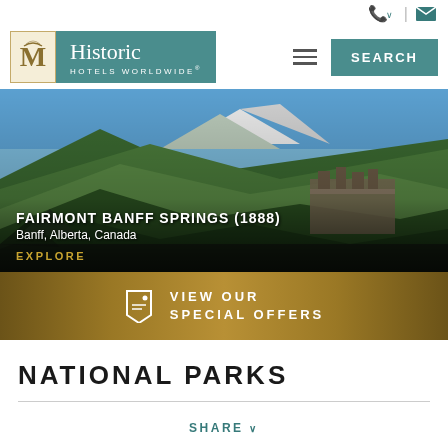Historic Hotels Worldwide
[Figure (photo): Aerial/landscape photo of Fairmont Banff Springs hotel (1888) nestled in green mountain forest with snow-capped peaks in background, blue sky]
FAIRMONT BANFF SPRINGS (1888)
Banff, Alberta, Canada
EXPLORE
VIEW OUR SPECIAL OFFERS
NATIONAL PARKS
SHARE